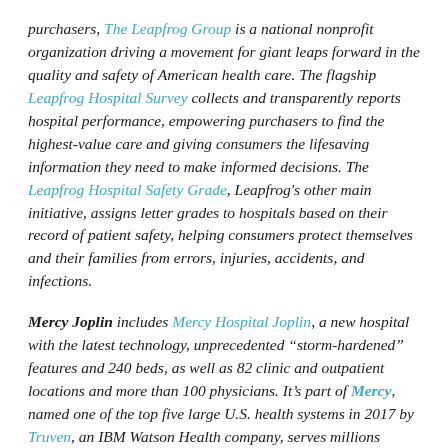purchasers, The Leapfrog Group is a national nonprofit organization driving a movement for giant leaps forward in the quality and safety of American health care. The flagship Leapfrog Hospital Survey collects and transparently reports hospital performance, empowering purchasers to find the highest-value care and giving consumers the lifesaving information they need to make informed decisions. The Leapfrog Hospital Safety Grade, Leapfrog's other main initiative, assigns letter grades to hospitals based on their record of patient safety, helping consumers protect themselves and their families from errors, injuries, accidents, and infections.
Mercy Joplin includes Mercy Hospital Joplin, a new hospital with the latest technology, unprecedented "storm-hardened" features and 240 beds, as well as 82 clinic and outpatient locations and more than 100 physicians. It's part of Mercy, named one of the top five large U.S. health systems in 2017 by Truven, an IBM Watson Health company, serves millions annually. Mercy includes 44